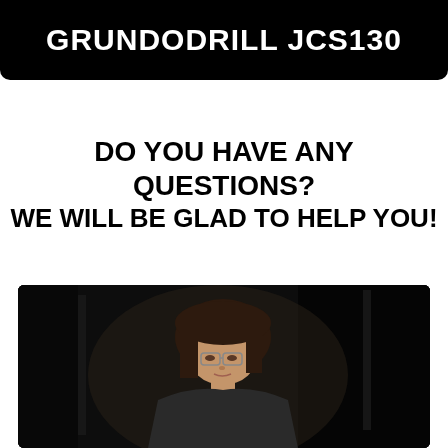GRUNDODRILL JCS130
DO YOU HAVE ANY QUESTIONS?
WE WILL BE GLAD TO HELP YOU!
[Figure (photo): Portrait photo of a woman with glasses and dark hair against a dark background, partially visible from the waist up]